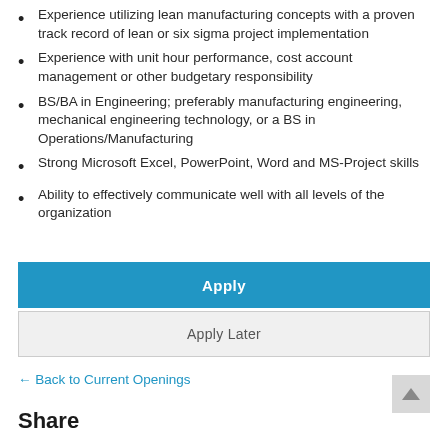Experience utilizing lean manufacturing concepts with a proven track record of lean or six sigma project implementation
Experience with unit hour performance, cost account management or other budgetary responsibility
BS/BA in Engineering; preferably manufacturing engineering, mechanical engineering technology, or a BS in Operations/Manufacturing
Strong Microsoft Excel, PowerPoint, Word and MS-Project skills
Ability to effectively communicate well with all levels of the organization
Apply
Apply Later
← Back to Current Openings
Share